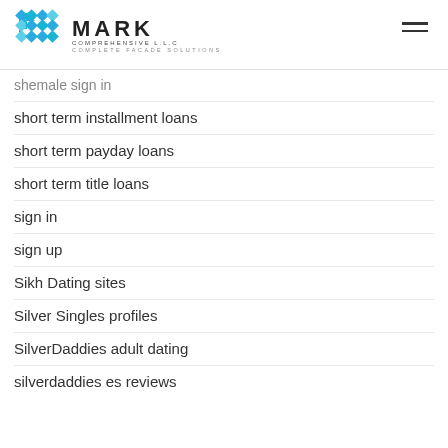[Figure (logo): Mark Comprehensive LLC logo with geometric blue diamond/hexagon pattern and text MARK COMPREHENSIVE L.L.C COMPLETE FACADE SOLUTIONS]
shemale sign in
short term installment loans
short term payday loans
short term title loans
sign in
sign up
Sikh Dating sites
Silver Singles profiles
SilverDaddies adult dating
silverdaddies es reviews